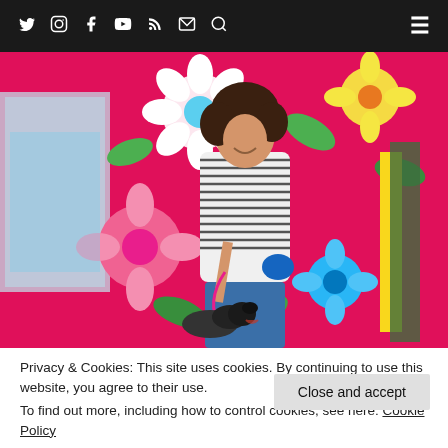Social media icons: Twitter, Instagram, Facebook, YouTube, RSS, Email, Search; Hamburger menu
[Figure (photo): Woman in striped shirt standing with a black dog on a pink leash in front of a colorful flower-painted bus/vehicle. Bright pink, yellow, white, blue, and green floral design on the background.]
Privacy & Cookies: This site uses cookies. By continuing to use this website, you agree to their use.
To find out more, including how to control cookies, see here: Cookie Policy
Close and accept
Hi, I'm Teresa...the human behind The Dogvine, the go-to blog for London